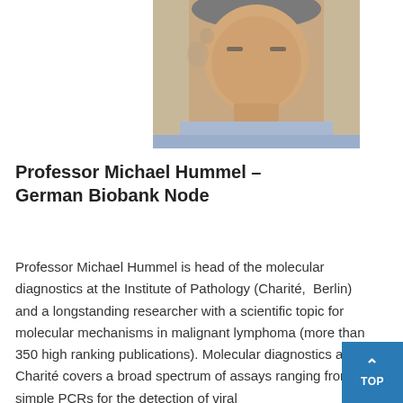[Figure (photo): Portrait photo of Professor Michael Hummel, a middle-aged man with short hair wearing a light blue shirt, photographed against a light background.]
Professor Michael Hummel – German Biobank Node
Professor Michael Hummel is head of the molecular diagnostics at the Institute of Pathology (Charité,  Berlin) and a longstanding researcher with a scientific topic for molecular mechanisms in malignant lymphoma (more than 350 high ranking publications). Molecular diagnostics at Charité covers a broad spectrum of assays ranging from simple PCRs for the detection of viral